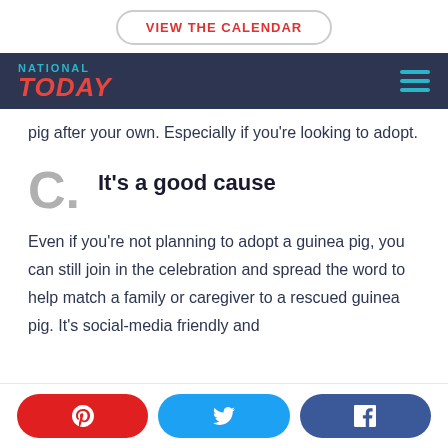VIEW THE CALENDAR
[Figure (logo): National Today logo with navigation hamburger menu on dark navy background]
pig after your own. Especially if you're looking to adopt.
C. It's a good cause
Even if you're not planning to adopt a guinea pig, you can still join in the celebration and spread the word to help match a family or caregiver to a rescued guinea pig. It's social-media friendly and
Pinterest, Twitter, Facebook social share buttons